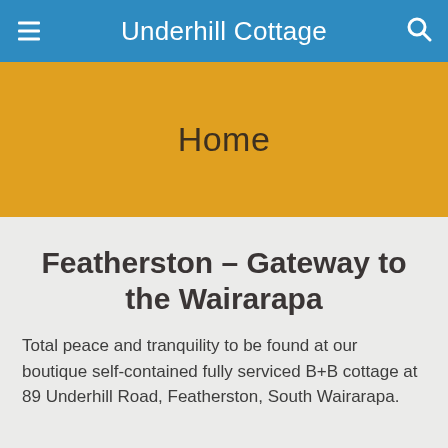Underhill Cottage
Home
Featherston – Gateway to the Wairarapa
Total peace and tranquility to be found at our boutique self-contained fully serviced B+B cottage at 89 Underhill Road, Featherston, South Wairarapa.